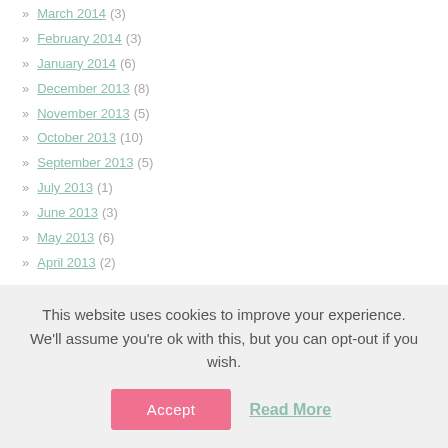» March 2014 (3)
» February 2014 (3)
» January 2014 (6)
» December 2013 (8)
» November 2013 (5)
» October 2013 (10)
» September 2013 (5)
» July 2013 (1)
» June 2013 (3)
» May 2013 (6)
» April 2013 (2)
This website uses cookies to improve your experience. We'll assume you're ok with this, but you can opt-out if you wish.
Accept  Read More